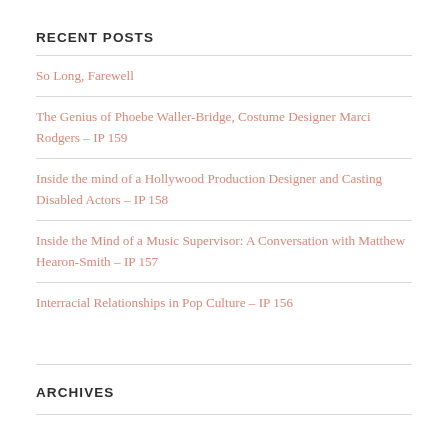RECENT POSTS
So Long, Farewell
The Genius of Phoebe Waller-Bridge, Costume Designer Marci Rodgers – IP 159
Inside the mind of a Hollywood Production Designer and Casting Disabled Actors – IP 158
Inside the Mind of a Music Supervisor: A Conversation with Matthew Hearon-Smith – IP 157
Interracial Relationships in Pop Culture – IP 156
ARCHIVES